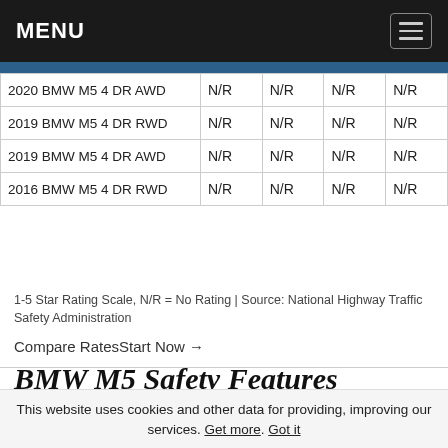MENU
| Vehicle | Col1 | Col2 | Col3 | Col4 |
| --- | --- | --- | --- | --- |
| 2020 BMW M5 4 DR AWD | N/R | N/R | N/R | N/R |
| 2019 BMW M5 4 DR RWD | N/R | N/R | N/R | N/R |
| 2019 BMW M5 4 DR AWD | N/R | N/R | N/R | N/R |
| 2016 BMW M5 4 DR RWD | N/R | N/R | N/R | N/R |
1-5 Star Rating Scale, N/R = No Rating | Source: National Highway Traffic Safety Administration
Compare RatesStart Now →
BMW M5 Safety Features
Having a variety of safety features on your BMW M5 can help lower your insurance costs. According to AutoBlog, the 2020 BMW M5's safety features include:
This website uses cookies and other data for providing, improving our services. Get more. Got it